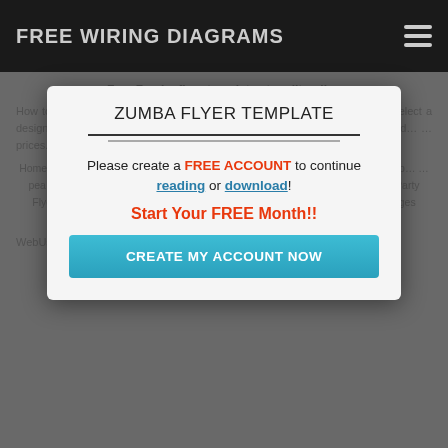FREE WIRING DIAGRAMS
Free Zumba flyer templates to edit online
How to edit a Zumba class flyer template at EDIT. It’s just four easy steps: Select a design from the ones we show you in this article, or go to the … …. Edit the ad … prices. Save yo… … n later -
[Figure (screenshot): Modal dialog overlay with heading 'ZUMBA FLYER TEMPLATE', two horizontal divider lines, call to action text 'Please create a FREE ACCOUNT to continue reading or download!', 'Start Your FREE Month!!' in red bold, and a teal 'CREATE MY ACCOUNT NOW' button.]
HomeCi… …Fitness Flyer | … …Zumba Flyer T… …Fuerza Latina… …ation Temp… …pea | Graphi… …Event Flyer Design | EtsythemestackZumba Fitness Carnival Party Flyer | ThemestackaloeperlisspotZumba Flyer Template FreeSee allSee all images
Zumba Flyer Templates - PhotoADKing
WebUsing PhotoADKing’s zumba flyer templates, you can make a